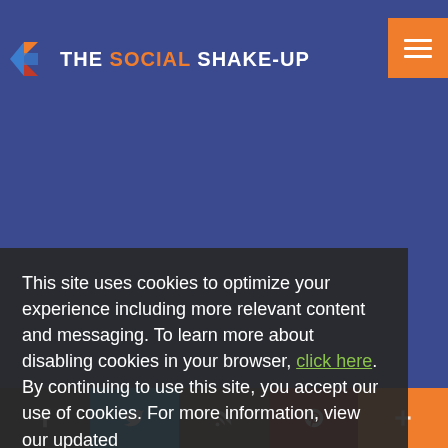[Figure (logo): The Social Shake-Up logo with geometric icon and orange/white text on dark blue background]
This site uses cookies to optimize your experience including more relevant content and messaging. To learn more about disabling cookies in your browser, click here.  By continuing to use this site, you accept our use of cookies. For more information, view our updated Privacy Policy.
I Consent